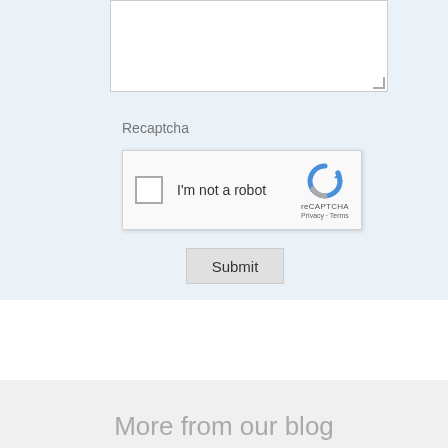[Figure (screenshot): Form section with a textarea input box (partially visible at top), a Recaptcha label, a reCAPTCHA 'I'm not a robot' widget with checkbox and Google reCAPTCHA logo, and a Submit button, all on a light blue background.]
Recaptcha
I'm not a robot
reCAPTCHA
Privacy · Terms
Submit
More from our blog